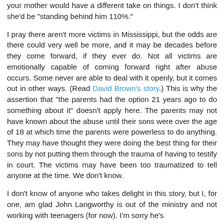your mother would have a different take on things. I don't think she'd be "standing behind him 110%."
I pray there aren't more victims in Mississippi, but the odds are there could very well be more, and it may be decades before they come forward, if they ever do. Not all victims are emotionally capable of coming forward right after abuse occurs. Some never are able to deal with it openly, but it comes out in other ways. (Read David Brown's story.) This is why the assertion that "the parents had the option 21 years ago to do something about it" doesn't apply here. The parents may not have known about the abuse until their sons were over the age of 18 at which time the parents were powerless to do anything. They may have thought they were doing the best thing for their sons by not putting them through the trauma of having to testify in court. The victims may have been too traumatized to tell anyone at the time. We don't know.
I don't know of anyone who takes delight in this story, but I, for one, am glad John Langworthy is out of the ministry and not working with teenagers (for now). I'm sorry he's...